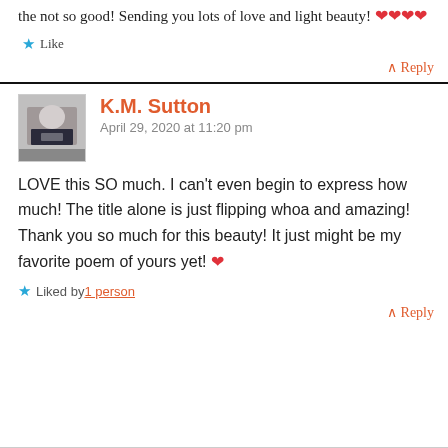the not so good! Sending you lots of love and light beauty! ❤❤❤❤
★ Like
^ Reply
K.M. Sutton
April 29, 2020 at 11:20 pm
LOVE this SO much. I can't even begin to express how much! The title alone is just flipping whoa and amazing! Thank you so much for this beauty! It just might be my favorite poem of yours yet! ❤
★ Liked by 1 person
^ Reply